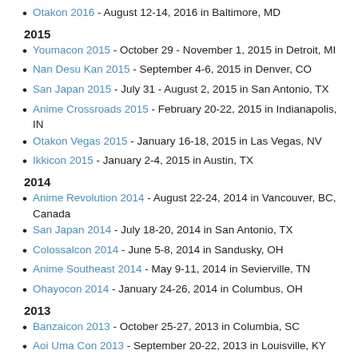Otakon 2016 - August 12-14, 2016 in Baltimore, MD
2015
Youmacon 2015 - October 29 - November 1, 2015 in Detroit, MI
Nan Desu Kan 2015 - September 4-6, 2015 in Denver, CO
San Japan 2015 - July 31 - August 2, 2015 in San Antonio, TX
Anime Crossroads 2015 - February 20-22, 2015 in Indianapolis, IN
Otakon Vegas 2015 - January 16-18, 2015 in Las Vegas, NV
Ikkicon 2015 - January 2-4, 2015 in Austin, TX
2014
Anime Revolution 2014 - August 22-24, 2014 in Vancouver, BC, Canada
San Japan 2014 - July 18-20, 2014 in San Antonio, TX
Colossalcon 2014 - June 5-8, 2014 in Sandusky, OH
Anime Southeast 2014 - May 9-11, 2014 in Sevierville, TN
Ohayocon 2014 - January 24-26, 2014 in Columbus, OH
2013
Banzaicon 2013 - October 25-27, 2013 in Columbia, SC
Aoi Uma Con 2013 - September 20-22, 2013 in Louisville, KY
Colossalcon 2013 - June 6-9, 2013 in Sandusky, OH
2012
Ikkicon 2012 - December 28-30, 2012 in Austin, TX
Izumicon 2012 - November 9-11, 2012 in Midwest City, OK
Fan Expo Canada 2012 - August 23-26 2012 in Toronto, ON, C...